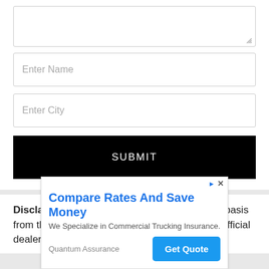[Figure (screenshot): Form section with textarea (partially visible at top), Enter Name input field, Enter City input field, and a black SUBMIT button]
Disclaimer: itel Vision 3 is updated on regular basis from the authentic sources of local shops and official dealers.
[Figure (infographic): Advertisement banner: Compare Rates And Save Money - We Specialize in Commercial Trucking Insurance. Quantum Assurance. Get Quote button.]